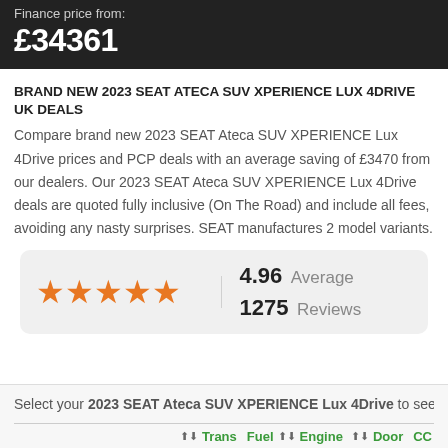Finance price from: £34361
BRAND NEW 2023 SEAT ATECA SUV XPERIENCE LUX 4DRIVE UK DEALS
Compare brand new 2023 SEAT Ateca SUV XPERIENCE Lux 4Drive prices and PCP deals with an average saving of £3470 from our dealers. Our 2023 SEAT Ateca SUV XPERIENCE Lux 4Drive deals are quoted fully inclusive (On The Road) and include all fees, avoiding any nasty surprises. SEAT manufactures 2 model variants.
[Figure (other): Five orange star rating icons with score 4.96 Average and 1275 Reviews]
Select your 2023 SEAT Ateca SUV XPERIENCE Lux 4Drive to see the A
| Trans | Fuel | Engine | Door | CC |
| --- | --- | --- | --- | --- |